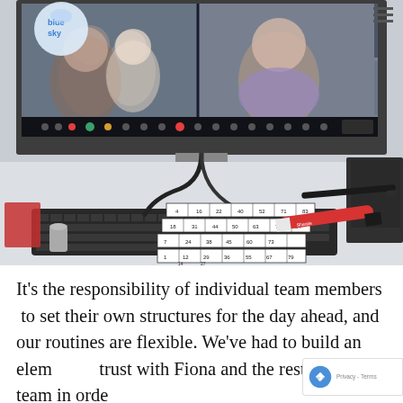[Figure (photo): A desk workspace photo showing a computer monitor displaying a video call with three people (children/adults smiling), a keyboard, bingo cards on the desk, a black pen, and a red marker. A laptop is visible on the right side. The bluesky logo appears in the top-left of the monitor. A hamburger menu icon is visible top-right.]
It's the responsibility of individual team members to set their own structures for the day ahead, and our routines are flexible. We've had to build an elem... trust with Fiona and the rest of the team in orde...